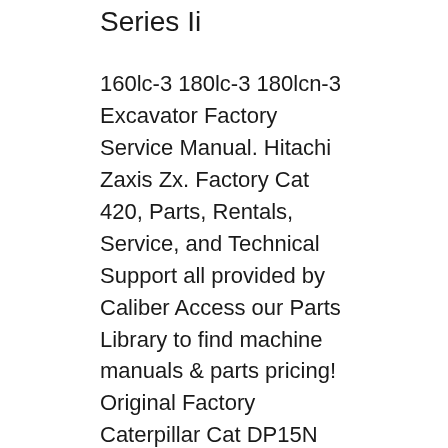Series Ii
160lc-3 180lc-3 180lcn-3 Excavator Factory Service Manual. Hitachi Zaxis Zx. Factory Cat 420, Parts, Rentals, Service, and Technical Support all provided by Caliber Access our Parts Library to find machine manuals & parts pricing! Original Factory Caterpillar Cat DP15N DP18N DP20CN Forklift Lift Trucks Service Repair. Cat 416 Backhoe Series Ii Factory Cat 28 Operator and Parts Manual. Factory Cat 29/35 Walk-Behind Scrubber Manual. Factory Cat 40 Rider Scrubber Manual. Factory Cat 390/420 Rider Scrubber/Sweeper Manual. Factory Cat 2023/2017 Walk-Behind Scrubber Manual. Factory Cat